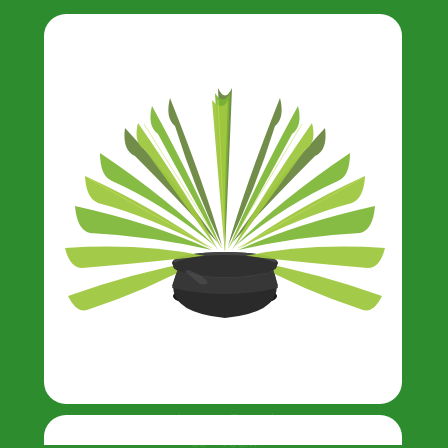[Figure (photo): A potted agave plant with long pointed green leaves in a round black plastic pot, shown against a white background inside a white rounded-rectangle card.]
Agave - Round
60 - 70cm